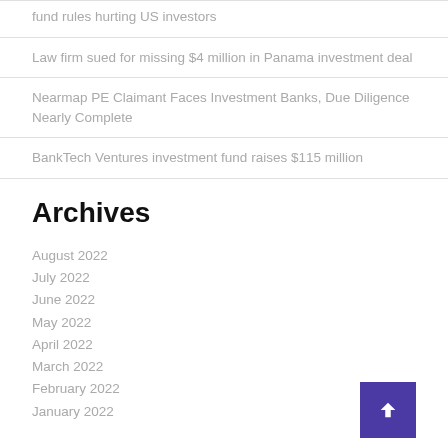fund rules hurting US investors
Law firm sued for missing $4 million in Panama investment deal
Nearmap PE Claimant Faces Investment Banks, Due Diligence Nearly Complete
BankTech Ventures investment fund raises $115 million
Archives
August 2022
July 2022
June 2022
May 2022
April 2022
March 2022
February 2022
January 2022